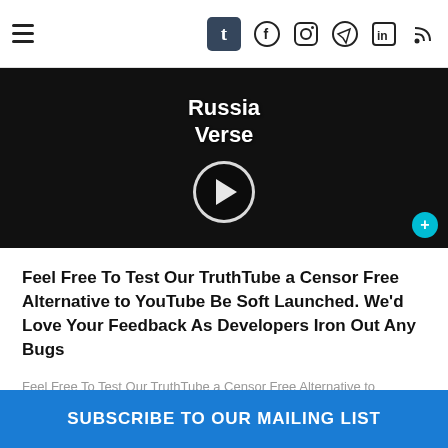t [tumblr] [facebook] [instagram] [telegram] [linkedin] [rss]
[Figure (screenshot): Video thumbnail with dark background, showing text 'Russia Verse' with a play button in the center]
Feel Free To Test Our TruthTube a Censor Free Alternative to YouTube Be Soft Launched. We'd Love Your Feedback As Developers Iron Out Any Bugs
Feel Free To Test Our TruthTube a Censor Free Alternative to YouTube Be Soft Launched. We'd Love Your Feedback As Developers Iron Out Any Bugs
47 total views
READ MORE »
SUBSCRIBE TO OUR MAILING LIST